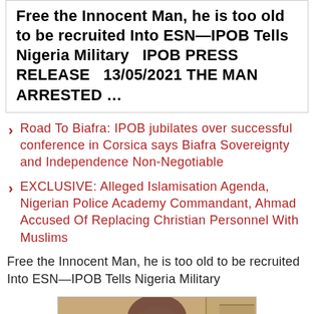Free the Innocent Man, he is too old to be recruited Into ESN—IPOB Tells Nigeria Military  IPOB PRESS RELEASE  13/05/2021 THE MAN ARRESTED …
Road To Biafra: IPOB jubilates over successful conference in Corsica says Biafra Sovereignty and Independence Non-Negotiable
EXCLUSIVE: Alleged Islamisation Agenda, Nigerian Police Academy Commandant, Ahmad Accused Of Replacing Christian Personnel With Muslims
Free the Innocent Man, he is too old to be recruited Into ESN—IPOB Tells Nigeria Military
[Figure (photo): Photo of an elderly African man against a tan/beige background]